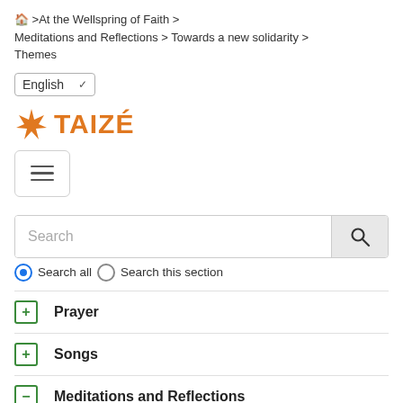🏠 >At the Wellspring of Faith > Meditations and Reflections > Towards a new solidarity > Themes
English ∨
[Figure (logo): Taizé logo: orange cross/star icon followed by orange bold text TAIZÉ]
[Figure (screenshot): Hamburger menu button with three horizontal lines inside a rounded rectangle border]
[Figure (screenshot): Search bar with placeholder text 'Search' and a magnifying glass search button on the right]
● Search all ○ Search this section
+ Prayer
+ Songs
− Meditations and Reflections
Biblical meditation online: See, I am doing a new thing